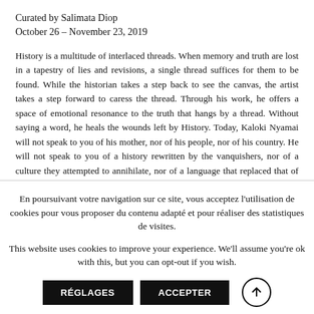Curated by Salimata Diop
October 26 – November 23, 2019
History is a multitude of interlaced threads. When memory and truth are lost in a tapestry of lies and revisions, a single thread suffices for them to be found. While the historian takes a step back to see the canvas, the artist takes a step forward to caress the thread. Through his work, he offers a space of emotional resonance to the truth that hangs by a thread. Without saying a word, he heals the wounds left by History. Today, Kaloki Nyamai will not speak to you of his mother, nor of his people, nor of his country. He will not speak to you of a history rewritten by the vanquishers, nor of a culture they attempted to annihilate, nor of a language that replaced that of his ancestors. The artist presents us with works marked by distant and
En poursuivant votre navigation sur ce site, vous acceptez l'utilisation de cookies pour vous proposer du contenu adapté et pour réaliser des statistiques de visites.
This website uses cookies to improve your experience. We'll assume you're ok with this, but you can opt-out if you wish.
RÉGLAGES
ACCEPTER